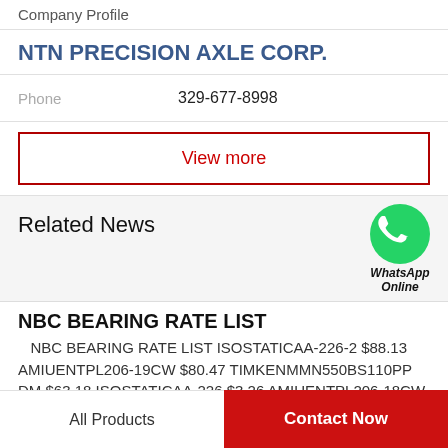Company Profile
NTN PRECISION AXLE CORP.
Phone   329-677-8998
View more
Related News
[Figure (logo): WhatsApp green circle icon with phone handset, labeled WhatsApp Online]
NBC BEARING RATE LIST
NBC BEARING RATE LIST ISOSTATICAA-226-2 $88.13 AMIUENTPL206-19CW $80.47 TIMKENMMN550BS110PP DM $63.18 ISOSTATICAA-226 $3.26 AMIUENTPL206-18CW
All Products
Contact Now